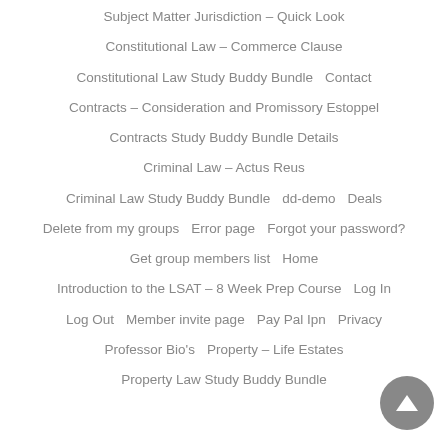Subject Matter Jurisdiction – Quick Look
Constitutional Law – Commerce Clause
Constitutional Law Study Buddy Bundle    Contact
Contracts – Consideration and Promissory Estoppel
Contracts Study Buddy Bundle Details
Criminal Law – Actus Reus
Criminal Law Study Buddy Bundle    dd-demo    Deals
Delete from my groups    Error page    Forgot your password?
Get group members list    Home
Introduction to the LSAT – 8 Week Prep Course    Log In
Log Out    Member invite page    Pay Pal Ipn    Privacy
Professor Bio's    Property – Life Estates
Property Law Study Buddy Bundle